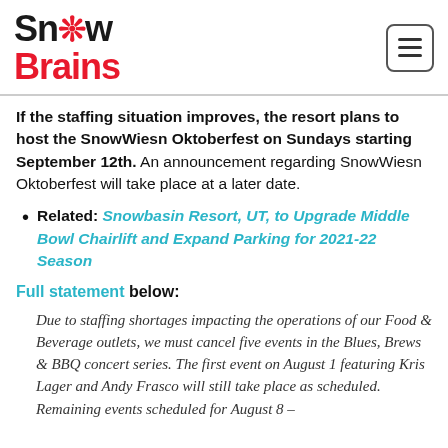SnowBrains
If the staffing situation improves, the resort plans to host the SnowWiesn Oktoberfest on Sundays starting September 12th. An announcement regarding SnowWiesn Oktoberfest will take place at a later date.
Related: Snowbasin Resort, UT, to Upgrade Middle Bowl Chairlift and Expand Parking for 2021-22 Season
Full statement below:
Due to staffing shortages impacting the operations of our Food & Beverage outlets, we must cancel five events in the Blues, Brews & BBQ concert series. The first event on August 1 featuring Kris Lager and Andy Frasco will still take place as scheduled. Remaining events scheduled for August 8 –